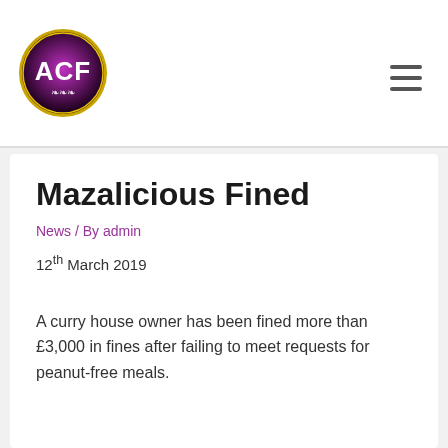[Figure (logo): ACF logo — circular badge with gold border, dark purple/black background, large white text 'ACF' and decorative scroll beneath]
Mazalicious Fined
News / By admin
12th March 2019
A curry house owner has been fined more than £3,000 in fines after failing to meet requests for peanut-free meals.